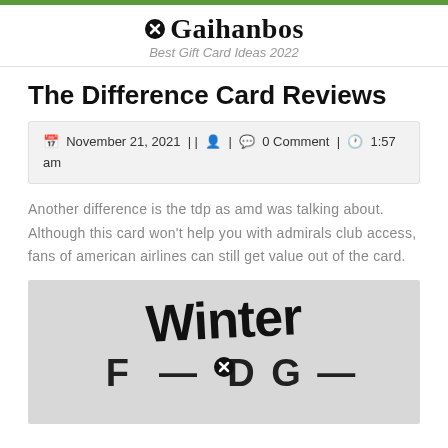Gaihanbos — Best Gift Card Ideas 2022
The Difference Card Reviews
November 21, 2021 || 👤 | 💬 0 Comment | 🕐 1:57 am
Another difference is the tdp as amd was talking about. Although this card won't help you with admirals club access, fans of american airlines can still get value out of the card.
[Figure (photo): Image with handwritten-style text reading 'Winter' in large black letters on a light gray background, with partial text below cut off]